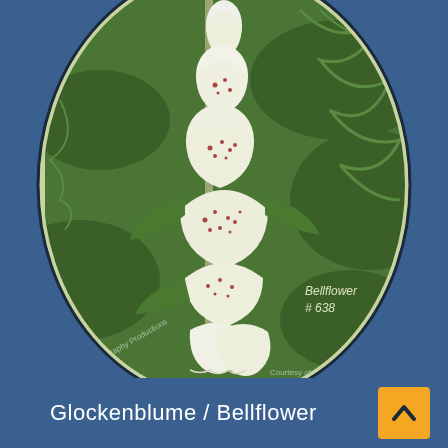[Figure (photo): Oval-framed photograph of white bellflower (foxglove-like flowers) with multiple bell-shaped white blooms with dark spots hanging downward, surrounded by green foliage. Text overlay reads 'Bellflower # 638'. Watermark text partially visible at bottom edges.]
Glockenblume / Bellflower